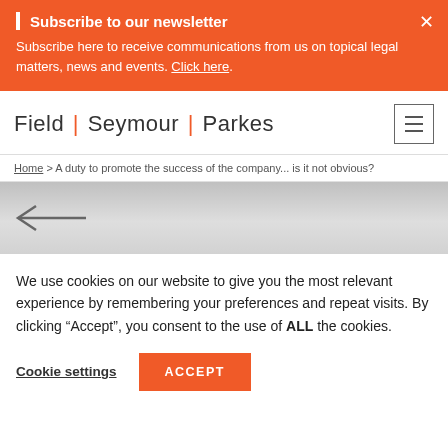Subscribe to our newsletter
Subscribe here to receive communications from us on topical legal matters, news and events. Click here.
[Figure (logo): Field Seymour Parkes law firm logo with orange pipe separators]
Home > A duty to promote the success of the company... is it not obvious?
[Figure (illustration): Grey gradient hero banner with left-pointing arrow]
We use cookies on our website to give you the most relevant experience by remembering your preferences and repeat visits. By clicking "Accept", you consent to the use of ALL the cookies.
Cookie settings   ACCEPT